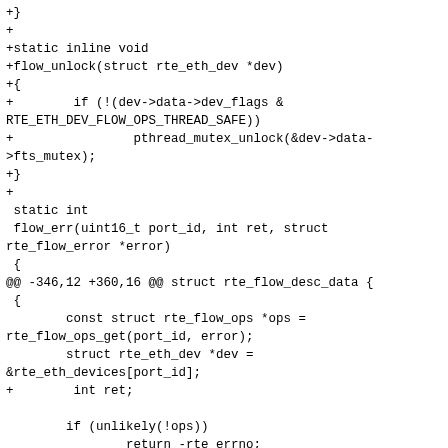+}
+
+static inline void
+flow_unlock(struct rte_eth_dev *dev)
+{
+        if (!(dev->data->dev_flags &
RTE_ETH_DEV_FLOW_OPS_THREAD_SAFE))
+                pthread_mutex_unlock(&dev->data->fts_mutex);
+}
+
 static int
 flow_err(uint16_t port_id, int ret, struct rte_flow_error *error)
 {
@@ -346,12 +360,16 @@ struct rte_flow_desc_data {
 {
        const struct rte_flow_ops *ops =
rte_flow_ops_get(port_id, error);
        struct rte_eth_dev *dev =
&rte_eth_devices[port_id];
+        int ret;

        if (unlikely(!ops))
                return -rte_errno;
-        if (likely(!!ops->validate))
-                return flow_err(port_id, ops->validate(dev, attr, pattern,
-
actions, error), error);